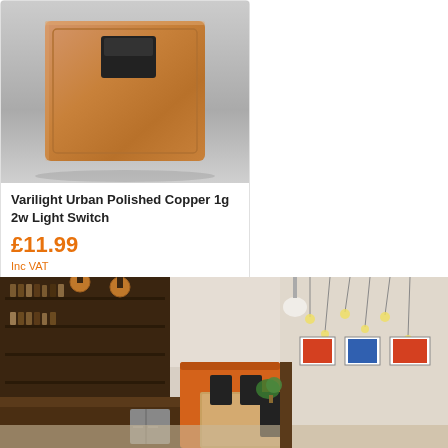[Figure (photo): Varilight Urban Polished Copper 1g 2w light switch product photo on grey background]
Varilight Urban Polished Copper 1g 2w Light Switch
£11.99
Inc VAT
VARXY1BCU
Quick buy
[Figure (photo): Interior photo of a modern restaurant/cafe with copper pendant lights, wood shelving with bottles and products, orange leather booth seating, wooden dining tables and chairs, pendant Edison bulb lighting, white walls with framed artwork]